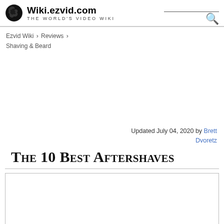Wiki.ezvid.com — The World's Video Wiki
Ezvid Wiki › Reviews › Shaving & Beard
Updated July 04, 2020 by Brett Dvoretz
The 10 Best Aftershaves
[Figure (other): Empty image placeholder box for article content]